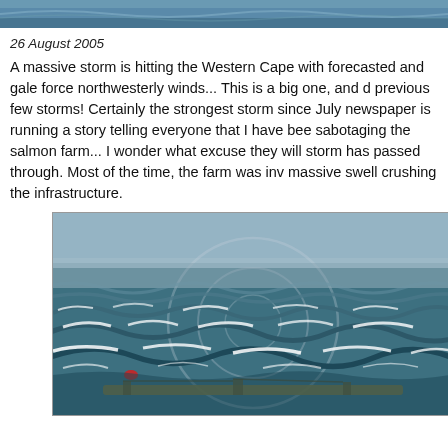[Figure (photo): Top banner image showing ocean/water scene, cropped header]
26 August 2005
A massive storm is hitting the Western Cape with forecasted and gale force northwesterly winds... This is a big one, and d previous few storms! Certainly the strongest storm since July newspaper is running a story telling everyone that I have bee sabotaging the salmon farm... I wonder what excuse they will storm has passed through. Most of the time, the farm was inv massive swell crushing the infrastructure.
[Figure (photo): Aerial photograph of a salmon farm being battered by a massive storm with huge swells and waves, farm infrastructure visible being crushed by waves, grey stormy sea, watermark circles visible on image]